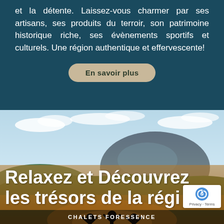et la détente. Laissez-vous charmer par ses artisans, ses produits du terroir, son patrimoine historique riche, ses évènements sportifs et culturels. Une région authentique et effervescente!
En savoir plus
[Figure (photo): Scenic landscape photo showing a rolling forested region with a rounded mountain in the background under a partly cloudy sky. In the foreground at the bottom, silhouettes of people with raised arms are visible against a warm sunset glow.]
Relaxez et Découvrez les trésors de la régi...
CHALETS FORESSENCE